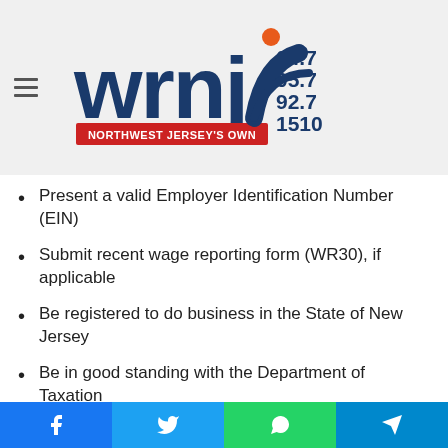WRNJ Radio — Northwest Jersey's Own — 104.7 105.7 92.7 1510
Present a valid Employer Identification Number (EIN)
Submit recent wage reporting form (WR30), if applicable
Be registered to do business in the State of New Jersey
Be in good standing with the Department of Taxation
Additional requirements may apply
As proposed, grants will be provided in the form of reimbursement of August rent or mortgage ($1,000 min rent eligibility). To ensure grants reach businesses in the hardest hit communities, including communities of color,